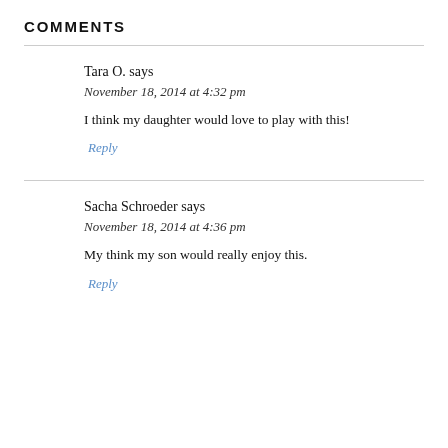COMMENTS
Tara O. says
November 18, 2014 at 4:32 pm
I think my daughter would love to play with this!
Reply
Sacha Schroeder says
November 18, 2014 at 4:36 pm
My think my son would really enjoy this.
Reply